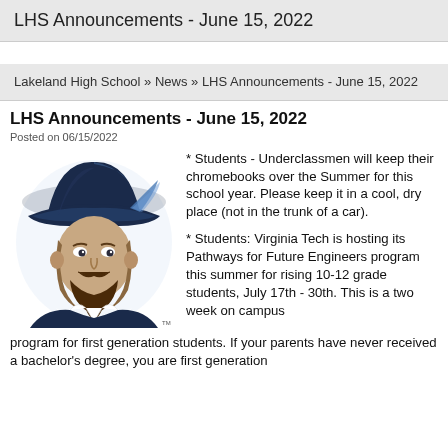LHS Announcements - June 15, 2022
Lakeland High School » News » LHS Announcements - June 15, 2022
LHS Announcements - June 15, 2022
Posted on 06/15/2022
[Figure (logo): Lakeland High School mascot logo — a blue and navy colonial-era gentleman with a wide-brimmed hat, beard, and collar, with TM mark]
* Students - Underclassmen will keep their chromebooks over the Summer for this school year. Please keep it in a cool, dry place (not in the trunk of a car).

* Students: Virginia Tech is hosting its Pathways for Future Engineers program this summer for rising 10-12 grade students, July 17th - 30th. This is a two week on campus program for first generation students. If your parents have never received a bachelor's degree, you are first generation